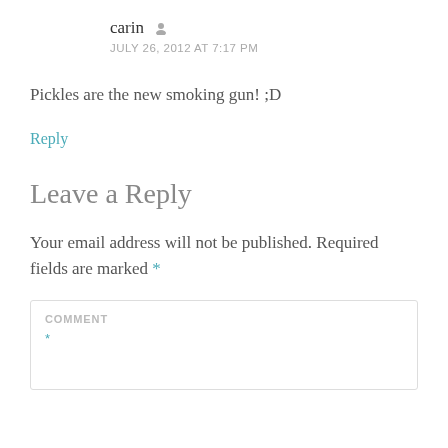carin
JULY 26, 2012 AT 7:17 PM
Pickles are the new smoking gun! ;D
Reply
Leave a Reply
Your email address will not be published. Required fields are marked *
COMMENT *